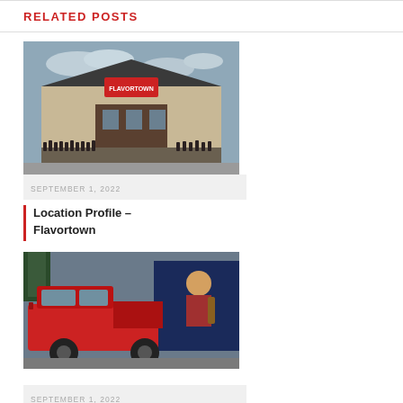RELATED POSTS
[Figure (photo): Exterior of a restaurant building with a crowd of people lined up outside. Overcast sky. Sign on building reads 'Flavortown'.]
SEPTEMBER 1, 2022
Location Profile – Flavortown
[Figure (photo): A red pickup truck parked in a lot. Behind it appears to be a truck or trailer with a painted mural featuring a person playing guitar.]
SEPTEMBER 1, 2022
Route Operator Profile – Store Founder of Special